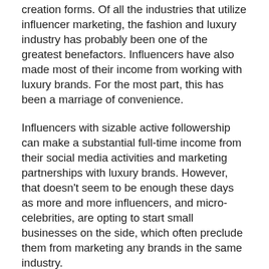creation forms. Of all the industries that utilize influencer marketing, the fashion and luxury industry has probably been one of the greatest benefactors. Influencers have also made most of their income from working with luxury brands. For the most part, this has been a marriage of convenience.
Influencers with sizable active followership can make a substantial full-time income from their social media activities and marketing partnerships with luxury brands. However, that doesn't seem to be enough these days as more and more influencers, and micro-celebrities, are opting to start small businesses on the side, which often preclude them from marketing any brands in the same industry.
Recently Youtube and Instagram influencers Ling and Lamb started a nail salon in Connecticut; Wow Nails. The Nigerian-American couple leveraged their massive online